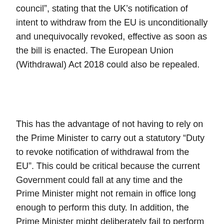council”, stating that the UK’s notification of intent to withdraw from the EU is unconditionally and unequivocally revoked, effective as soon as the bill is enacted. The European Union (Withdrawal) Act 2018 could also be repealed.
This has the advantage of not having to rely on the Prime Minister to carry out a statutory “Duty to revoke notification of withdrawal from the EU”. This could be critical because the current Government could fall at any time and the Prime Minister might not remain in office long enough to perform this duty. In addition, the Prime Minister might deliberately fail to perform this duty by invoking some dubious legal argument, which could drag the whole process into the courts.